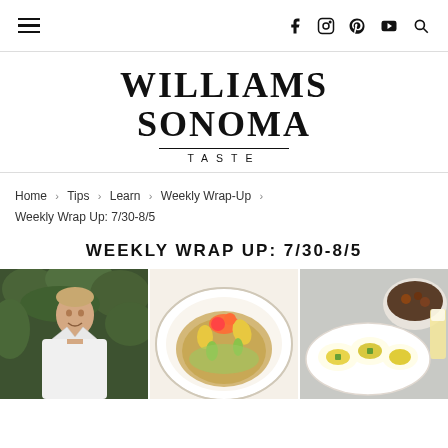Williams Sonoma Taste — navigation bar with hamburger menu and social icons
WILLIAMS SONOMA TASTE
Home > Tips > Learn > Weekly Wrap-Up > Weekly Wrap Up: 7/30-8/5
WEEKLY WRAP UP: 7/30-8/5
[Figure (photo): Three food/editorial photos side by side: a chef in white coat outdoors, a plate of grilled vegetables with grains, and deviled eggs with a bowl of mixed nuts and a glass of beer]